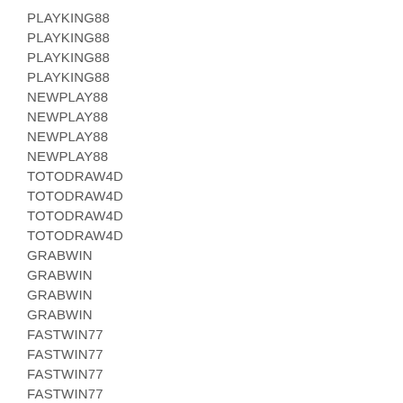PLAYKING88
PLAYKING88
PLAYKING88
PLAYKING88
NEWPLAY88
NEWPLAY88
NEWPLAY88
NEWPLAY88
TOTODRAW4D
TOTODRAW4D
TOTODRAW4D
TOTODRAW4D
GRABWIN
GRABWIN
GRABWIN
GRABWIN
FASTWIN77
FASTWIN77
FASTWIN77
FASTWIN77
COLOWIN
COLOWIN
COLOWIN
COLOWIN
GLOWIN88